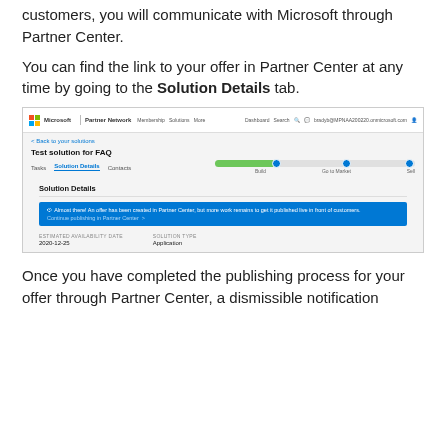customers, you will communicate with Microsoft through Partner Center.
You can find the link to your offer in Partner Center at any time by going to the Solution Details tab.
[Figure (screenshot): Screenshot of Microsoft Partner Network portal showing the Solution Details tab with a progress bar (Build, Go to Market, Sell), a blue notification banner saying 'Almost there! An offer has been created in Partner Center, but more work remains to get it published live in front of customers. Continue publishing in Partner Center >', and metadata fields ESTIMATED AVAILABILITY DATE: 2020-12-25 and SOLUTION TYPE: Application.]
Once you have completed the publishing process for your offer through Partner Center, a dismissible notification